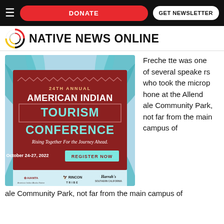DONATE | GET NEWSLETTER
NATIVE NEWS ONLINE
[Figure (illustration): 24th Annual American Indian Tourism Conference advertisement. Dark red/maroon background with teal palm leaf imagery. Text: '24TH ANNUAL AMERICAN INDIAN TOURISM CONFERENCE - Rising Together For the Journey Ahead. October 24-27, 2022. REGISTER NOW'. Logos: AIANTA, RINCON TRIBE, Harrah's Southern California.]
Frechette was one of several speakers who took the microphone at the Allend ale Community Park, not far from the main campus of